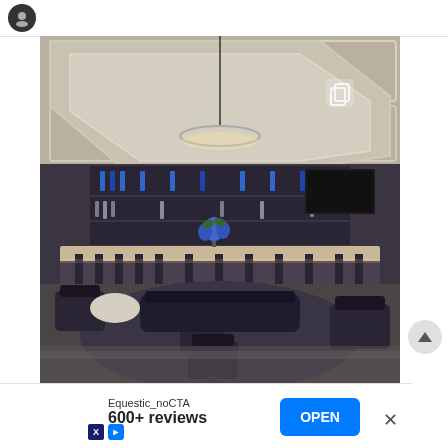[Figure (screenshot): Instagram-style app screenshot showing a luxury hotel bar/lounge interior photo. The photo shows an upscale restaurant or hotel bar with coffered ceilings, chandelier lighting, a long bar counter with bar stools, dark lounge chairs and round tables arranged on a decorative rug, marble flooring, and backlit liquor shelves. A blue flower arrangement is on the bar. Overlay icon in top-right corner. Below the photo is an advertisement banner for 'Equestic_noCTA' with '600+ reviews' text, an OPEN button, and a close (X) button.]